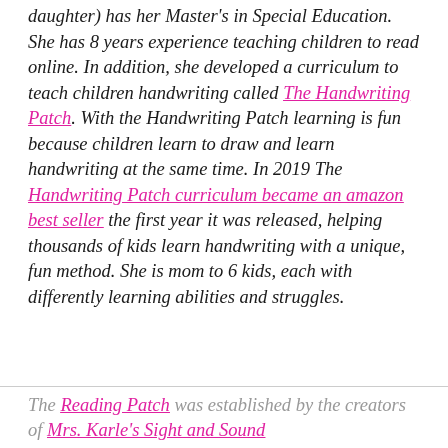daughter) has her Master's in Special Education. She has 8 years experience teaching children to read online. In addition, she developed a curriculum to teach children handwriting called The Handwriting Patch. With the Handwriting Patch learning is fun because children learn to draw and learn handwriting at the same time. In 2019 The Handwriting Patch curriculum became an amazon best seller the first year it was released, helping thousands of kids learn handwriting with a unique, fun method. She is mom to 6 kids, each with differently learning abilities and struggles.
The Reading Patch was established by the creators of Mrs. Karle's Sight and Sound